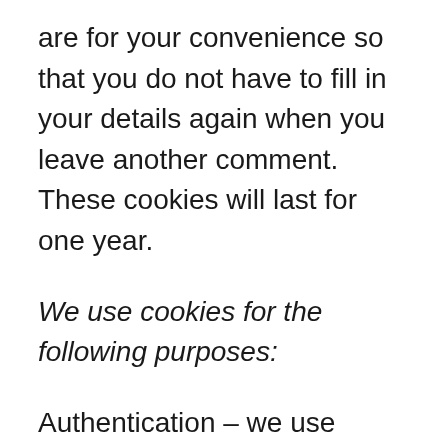are for your convenience so that you do not have to fill in your details again when you leave another comment. These cookies will last for one year.
We use cookies for the following purposes:
Authentication – we use cookies to identify you when you visit our website and as you navigate our website. Analytics cookies – these cookies are used to track the use and performance of